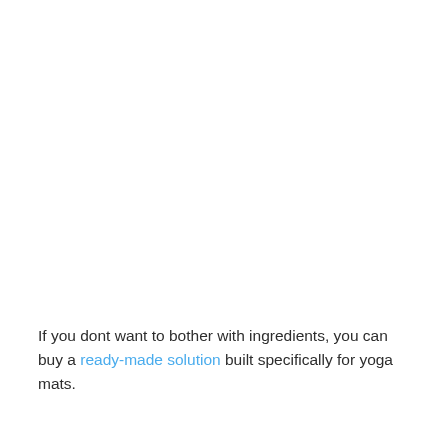If you dont want to bother with ingredients, you can buy a ready-made solution built specifically for yoga mats.